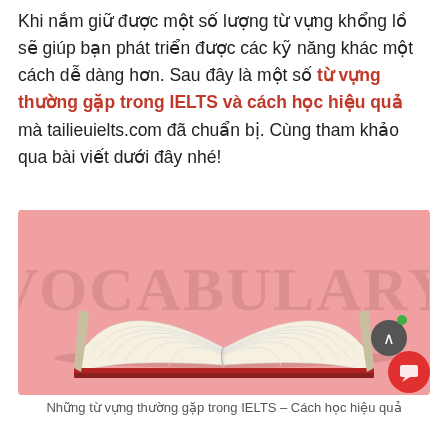Khi nắm giữ được một số lượng từ vựng khổng lồ sẽ giúp bạn phát triển được các kỹ năng khác một cách dễ dàng hơn. Sau đây là một số từ vựng thường gặp trong IELTS và cách học hiệu quả mà tailieuielts.com đã chuẩn bị. Cùng tham khảo qua bài viết dưới đây nhé!
[Figure (illustration): An open book illustration on a pink/salmon background with the word VOCABULARY written in large faded serif letters arching over the book. A scroll-to-top button (dark circle with up arrow) and a red chat button with green notification dot are overlaid in the bottom-right corner.]
Những từ vựng thường gặp trong IELTS – Cách học hiệu quả